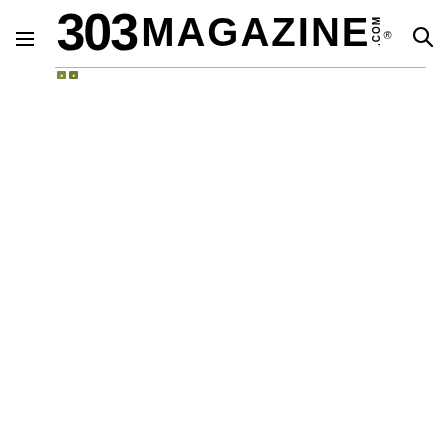303 MAGAZINE.COM
[Figure (logo): 303 Magazine logo with hamburger menu icon on the left and search icon on the right. The logo shows '303' in large bold numerals followed by 'MAGAZINE' in bold uppercase letters with '.COM' written vertically and a registered trademark symbol.]